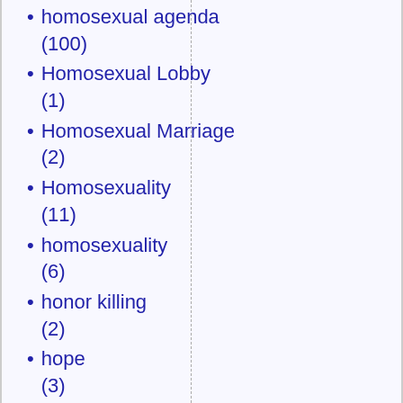homosexual agenda (100)
Homosexual Lobby (1)
Homosexual Marriage (2)
Homosexuality (11)
homosexuality (6)
honor killing (2)
hope (3)
horizontal ponzi scheme (1)
horses (2)
housing